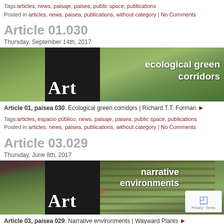Tags: articles, news, paisaje, paisea, public space, publications
Posted in articles, news, paisea, publications, without category | No Comments
Article 01.030
Thursday, September 14th, 2017
[Figure (photo): Aerial view of ecological green corridors with forest and agricultural land; black box overlay with 'Art' text; text overlay reads 'ecological green corridors']
Article 01, paisea 030. Ecological green corridors | Richard T.T. Forman ▶
Tags: articles, espacio público, news, paisaje, paisea, public space, publications
Posted in articles, news, paisea, publications, without category | No Comments
Article 03.029
Thursday, June 8th, 2017
[Figure (photo): Photo of a garden/greenhouse with red flowers and plants on wooden shelves; black box overlay with 'Art' text; text overlay reads 'narrative environments'; reCAPTCHA badge visible]
Article 03, paisea 029. Narrative environments | Wayward Plants ▶